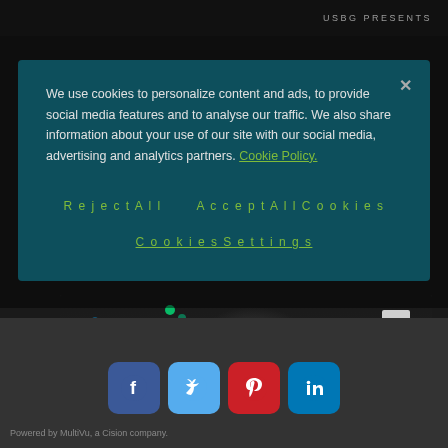USBG PRESENTS
We use cookies to personalize content and ads, to provide social media features and to analyse our traffic. We also share information about your use of our site with our social media, advertising and analytics partners. Cookie Policy.
Reject All
Accept All Cookies
Cookies Settings
[Figure (photo): Partial face of a person visible below the cookie consent modal, with colorful bokeh lights in the background]
[Figure (infographic): Social media share buttons: Facebook (blue), Twitter (light blue), Pinterest (red), LinkedIn (blue)]
Powered by MultiVu, a Cision company.